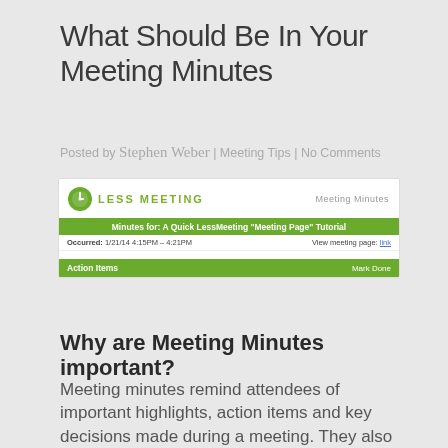What Should Be In Your Meeting Minutes
Posted by Stephen Weber | Meeting Tips | No Comments
[Figure (screenshot): Screenshot of Less Meeting app showing Meeting Minutes template with green header bars, action items section, and meeting details for 'A Quick LessMeeting Meeting Page Tutorial' occurring 1/21/14 4:15PM - 4:21PM]
Why are Meeting Minutes important?
Meeting minutes remind attendees of important highlights, action items and key decisions made during a meeting. They also serve as a great way to update those that cannot attend and help increase accountability within an